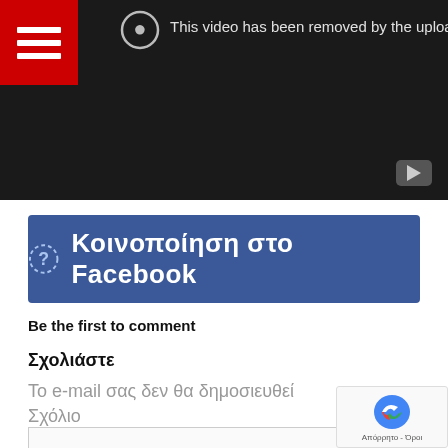[Figure (screenshot): Video player showing 'This video has been removed by the uploader' message with a hamburger menu icon on red background top-left and YouTube icon bottom-right]
[Figure (other): Blue Facebook share button with question mark icon and text 'Κοινοποίηση στο Facebook']
Be the first to comment
Σχολιάστε
Το e-mail σας δεν θα δημοσιευθεί
Σχόλιο
[Figure (screenshot): reCAPTCHA badge with logo and 'Απόρρητο - Όροι' text]